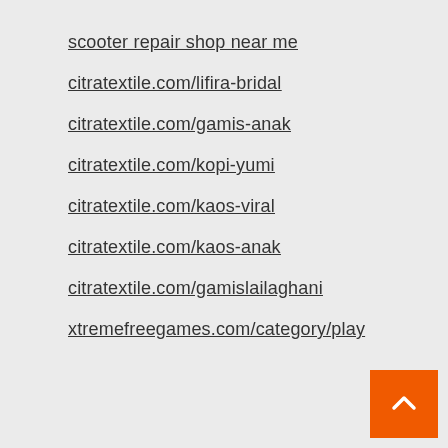scooter repair shop near me
citratextile.com/lifira-bridal
citratextile.com/gamis-anak
citratextile.com/kopi-yumi
citratextile.com/kaos-viral
citratextile.com/kaos-anak
citratextile.com/gamislailaghani
xtremefreegames.com/category/play